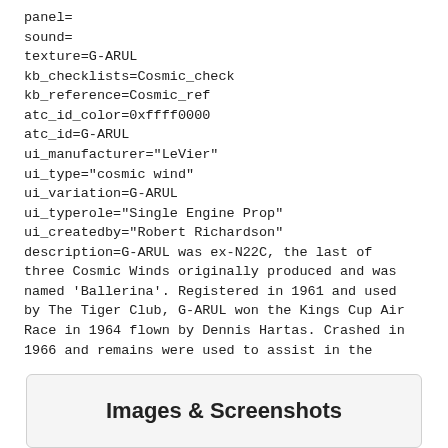panel=
sound=
texture=G-ARUL
kb_checklists=Cosmic_check
kb_reference=Cosmic_ref
atc_id_color=0xffff0000
atc_id=G-ARUL
ui_manufacturer="LeVier"
ui_type="cosmic wind"
ui_variation=G-ARUL
ui_typerole="Single Engine Prop"
ui_createdby="Robert Richardson"
description=G-ARUL was ex-N22C, the last of three Cosmic Winds originally produced and was named 'Ballerina'. Registered in 1961 and used by The Tiger Club, G-ARUL won the Kings Cup Air Race in 1964 flown by Dennis Hartas. Crashed in 1966 and remains were used to assist in the build of Paul Bannister's 'Ballerina Mk II', which is still flying today from Duxford.
Images & Screenshots